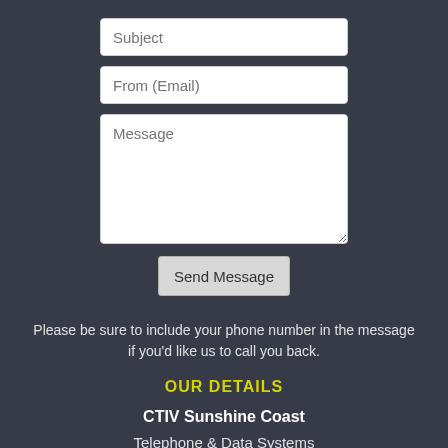[Figure (screenshot): Contact form with Subject input field, From (Email) input field, Message textarea, and Send Message button]
Please be sure to include your phone number in the message if you'd like us to call you back.
OUR DETAILS
CTIV Sunshine Coast
Telephone & Data Systems
Sunshine Coast, QLD Australia